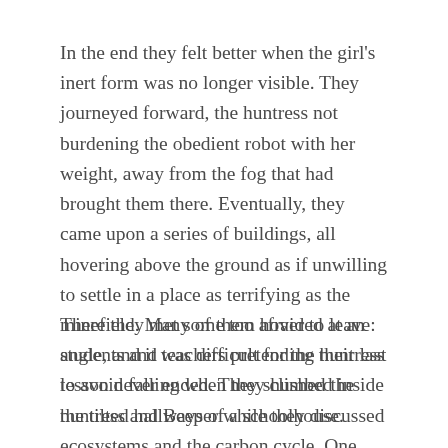In the end they felt better when the girl's inert form was no longer visible. They journeyed forward, the huntress not burdening the obedient robot with her weight, away from the fog that had brought them there. Eventually, they came upon a series of buildings, all hovering above the ground as if unwilling to settle in a place as terrifying as the minefield. Many of them hovered at an angle, and it was difficult for the huntress to avoid falling when they climbed inside the tilted hallways of a schoolhouse.
There they met some too afraid to leave: students and teachers pretending their last lesson never ended. They shushed the huntress and Beeper while they discussed ecosystems and the carbon cycle. One slipped away, a boy of fifteen, eager to see the minefield. He joined them in the